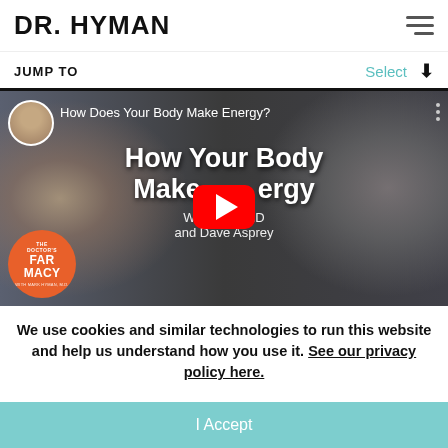DR. HYMAN
JUMP TO   Select
[Figure (screenshot): YouTube video thumbnail for 'How Does Your Body Make Energy?' with Dr. Mark Hyman and Dave Asprey, featuring a red YouTube play button overlay and The Doctor's Farmacy orange logo badge in the bottom left. Two people are shown — a man with glasses on the left and another man on the right. Text overlay reads 'How Your Body Make Energy With T... ...e, MD and Dave Asprey'.]
We use cookies and similar technologies to run this website and help us understand how you use it. See our privacy policy here.
I Accept